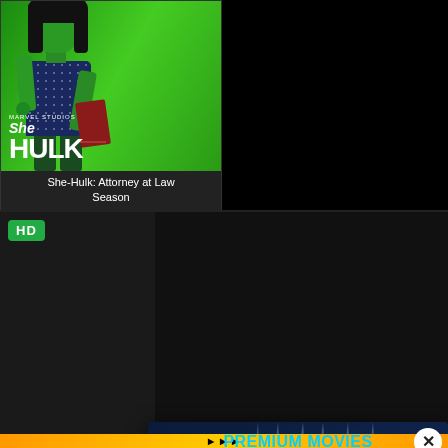[Figure (screenshot): She-Hulk: Attorney at Law movie poster on a streaming site. Green background with She-Hulk character in blue outfit holding a briefcase/book. Marvel Studios logo and She-Hulk title at bottom of poster.]
She-Hulk: Attorney at Law
Season
[Figure (screenshot): HD badge in green on a dark card]
[Figure (infographic): Premium movies popup/modal overlay on dark blue background with spotlight rays and cinema seats. Contains title: PREMIUM MOVIES EVERYONE SHOULD JOIN! and body text about buying services from partners to get Fmovies Premium Membership. Two in One! Close X button in top right.]